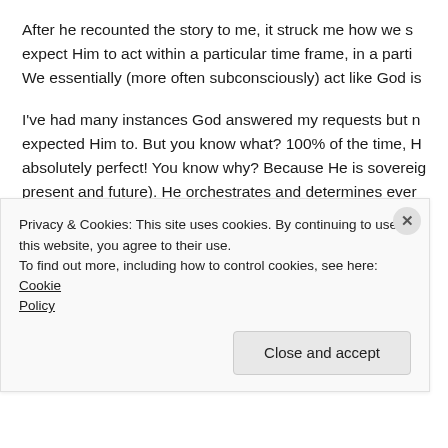After he recounted the story to me, it struck me how we expect Him to act within a particular time frame, in a parti… We essentially (more often subconsciously) act like God is…
I've had many instances God answered my requests but not how I expected Him to. But you know what? 100% of the time, His way was absolutely perfect! You know why? Because He is sovereign (past, present and future). He orchestrates and determines everything in my life and yours too. Knowing all these, I wonder why my limited logic should be His roadmap for my life. SMH…
A lesson I have learned along the way is to 'let go and let…
Privacy & Cookies: This site uses cookies. By continuing to use this website, you agree to their use.
To find out more, including how to control cookies, see here: Cookie Policy
Close and accept